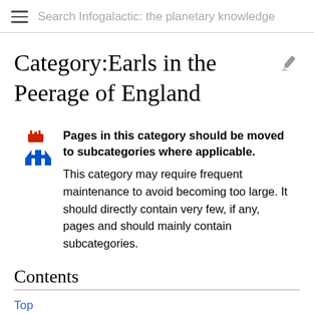Search Infogalactic: the planetary knowledge
Category:Earls in the Peerage of England
Pages in this category should be moved to subcategories where applicable. This category may require frequent maintenance to avoid becoming too large. It should directly contain very few, if any, pages and should mainly contain subcategories.
Contents
Top